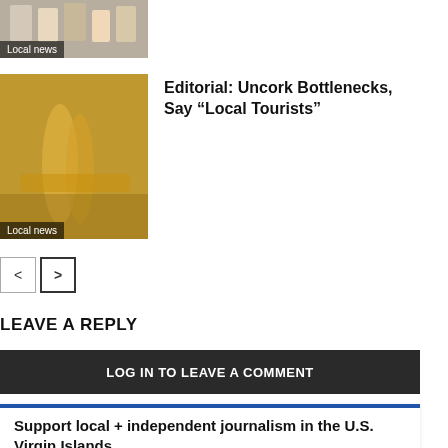[Figure (photo): Group photo of people, partially visible at top of page with 'Local news' badge]
[Figure (photo): Photo of wine bottle(s) on wooden surface with 'Local news' badge]
Editorial: Uncork Bottlenecks, Say “Local Tourists”
< >
LEAVE A REPLY
LOG IN TO LEAVE A COMMENT
Support local + independent journalism in the U.S. Virgin Islands